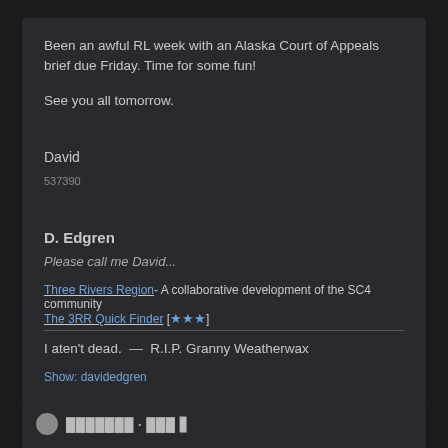Been an awful RL week with an Alaska Court of Appeals brief due Friday. Time for some fun!
See you all tomorrow.
David
537390
D. Edgren
Please call me David...
Three Rivers Region- A collaborative development of the SC4 community
The 3RR Quick Finder [★★★]
I aten't dead.  —  R.I.P. Granny Weatherwax
Show: davidedgren